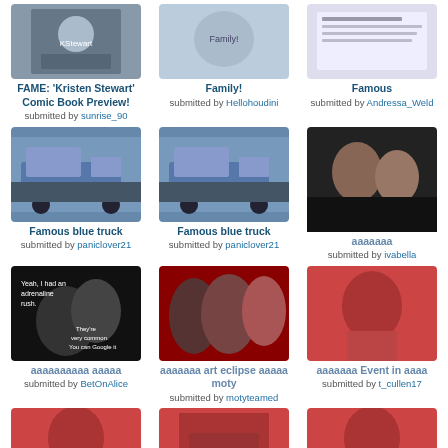[Figure (photo): Kristen Stewart comic book cover thumbnail]
FAME: 'Kristen Stewart' Comic Book Preview!
submitted by sunrise_90
[Figure (photo): Family photo thumbnail]
Family!
submitted by Hellohoudini
[Figure (photo): Famous article thumbnail]
Famous
submitted by Andressa_Weld
[Figure (photo): Famous blue truck photo 1]
Famous blue truck
submitted by paniclover21
[Figure (photo): Famous blue truck photo 2]
Famous blue truck
submitted by paniclover21
[Figure (photo): Couple photo]
ааааааа
submitted by ivabella
[Figure (photo): Twilight quote image - Yeah I had an adrenaline rush / They're very common you can Google it]
аааааааааа ааааа
submitted by BetOnAlice
[Figure (photo): Eclipse art collage with three women]
ааааааа art eclipse ааааа moty
submitted by motyteamed
[Figure (photo): Robert Pattinson event photo red tint]
ааааааа Event in аааа
submitted by t_cullen17
[Figure (photo): Red tinted photo of young man]
[Figure (photo): Two men at event with screen behind]
[Figure (photo): Red tinted photo of man]